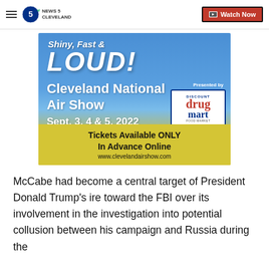News 5 Cleveland — Watch Now
[Figure (illustration): Cleveland National Air Show advertisement banner. Blue to yellow gradient background. Text: Shiny, Fast & LOUD! Cleveland National Air Show Sept. 3, 4 & 5, 2022 Presented by Discount Drug Mart. Tickets Available ONLY In Advance Online www.clevelandairshow.com]
McCabe had become a central target of President Donald Trump's ire toward the FBI over its involvement in the investigation into potential collusion between his campaign and Russia during the